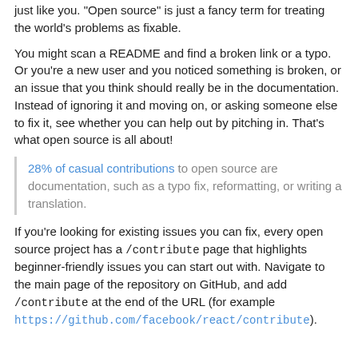just like you. "Open source" is just a fancy term for treating the world's problems as fixable.
You might scan a README and find a broken link or a typo. Or you're a new user and you noticed something is broken, or an issue that you think should really be in the documentation. Instead of ignoring it and moving on, or asking someone else to fix it, see whether you can help out by pitching in. That's what open source is all about!
28% of casual contributions to open source are documentation, such as a typo fix, reformatting, or writing a translation.
If you're looking for existing issues you can fix, every open source project has a /contribute page that highlights beginner-friendly issues you can start out with. Navigate to the main page of the repository on GitHub, and add /contribute at the end of the URL (for example https://github.com/facebook/react/contribute).